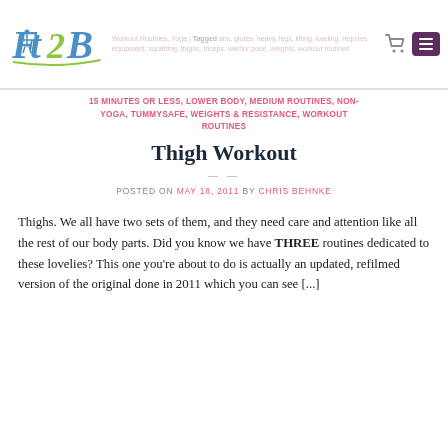Fit2B logo with navigation tags: Workout Routines, Yoga | Tagged abs, glutes, heavy, legs, lifting, loading, requires equipment, squatting, thighs, triceps, warrior pose, weights, workout routines
15 MINUTES OR LESS, LOWER BODY, MEDIUM ROUTINES, NON-YOGA, TUMMYSAFE, WEIGHTS & RESISTANCE, WORKOUT ROUTINES
Thigh Workout
POSTED ON MAY 18, 2011 BY CHRIS BEHNKE
Thighs. We all have two sets of them, and they need care and attention like all the rest of our body parts. Did you know we have THREE routines dedicated to these lovelies? This one you're about to do is actually an updated, refilmed version of the original done in 2011 which you can see [...]